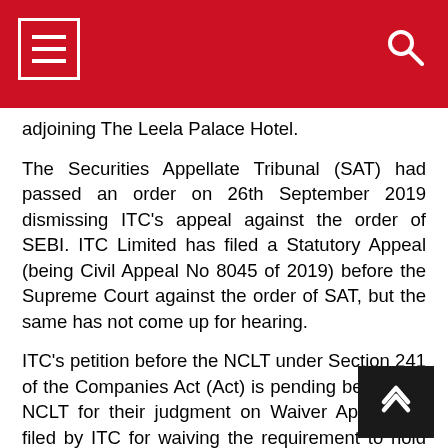Navigation header with menu icon and search icon
adjoining The Leela Palace Hotel.
The Securities Appellate Tribunal (SAT) had passed an order on 26th September 2019 dismissing ITC’s appeal against the order of SEBI. ITC Limited has filed a Statutory Appeal (being Civil Appeal No 8045 of 2019) before the Supreme Court against the order of SAT, but the same has not come up for hearing.
ITC’s petition before the NCLT under Section 241 of the Companies Act (Act) is pending before the NCLT for their judgment on Waiver Application filed by ITC for waiving the requirement to hold not less than one-tenth of the issued share capital of the Company as